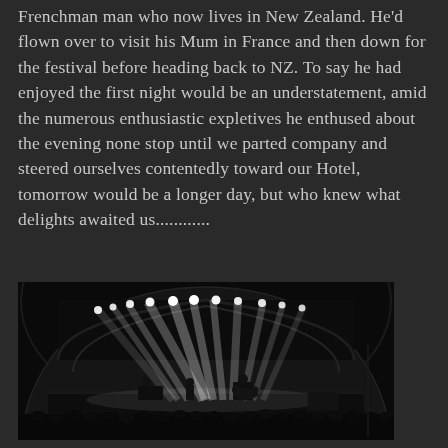Frenchman man who now lives in New Zealand. He'd flown over to visit his Mum in France and then down for the festival before heading back to NZ. To say he had enjoyed the first night would be an understatement, amid the numerous enthusiastic expletives he enthused about the evening none stop until we parted company and steered ourselves contentedly toward our Hotel, tomorrow would be a longer day, but who knew what delights awaited us............
[Figure (photo): Concert stage photo showing a large domed/arched stage structure with bright white stage lights beaming down. Musicians and drum kit visible on stage, crowd silhouettes in the foreground. Dark, atmospheric concert setting.]